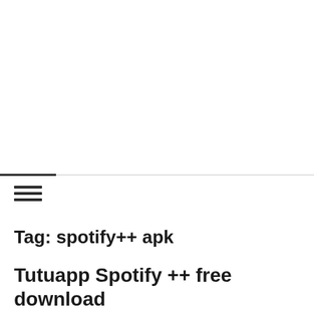[Figure (other): Horizontal rule with dark left segment and light right segment, followed by a hamburger menu icon (three horizontal lines)]
Tag: spotify++ apk
Tutuapp Spotify ++ free download